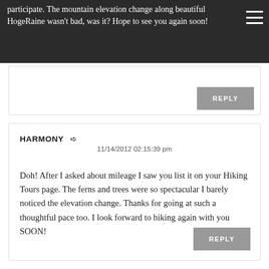participate. The mountain elevation change along beautiful HogeRaine wasn't bad, was it? Hope to see you again soon!
REPLY
HARMONY → 11/14/2012 02:15:39 pm
Doh! After I asked about mileage I saw you list it on your Hiking Tours page. The ferns and trees were so spectacular I barely noticed the elevation change. Thanks for going at such a thoughtful pace too. I look forward to hiking again with you SOON!
REPLY